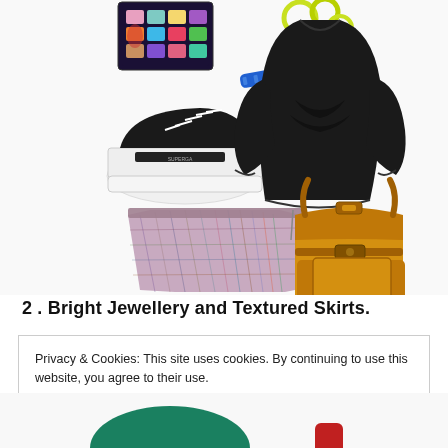[Figure (photo): Fashion collage showing a makeup palette, neon yellow hair ties, blue hair clips, black platform sneakers, a black twisted front sweatshirt, a tweed mini skirt, and a mustard yellow backpack, arranged on a white background.]
2 . Bright Jewellery and Textured Skirts.
Privacy & Cookies: This site uses cookies. By continuing to use this website, you agree to their use.
To find out more, including how to control cookies, see here: Cookie Policy
Close and accept
[Figure (photo): Bottom of page partially visible fashion image showing green and red items.]